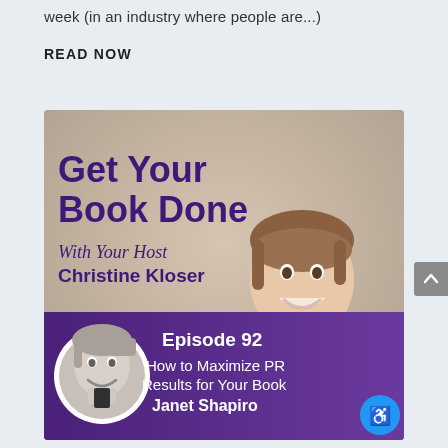week (in an industry where people are...)
READ NOW
[Figure (illustration): Podcast cover art for 'Get Your Book Done with Your Host Christine Kloser' showing Episode 92: How to Maximize PR Results for Your Book with guest Janet Shapiro. Features host Christine Kloser in a lavender top with a circular guest photo inset.]